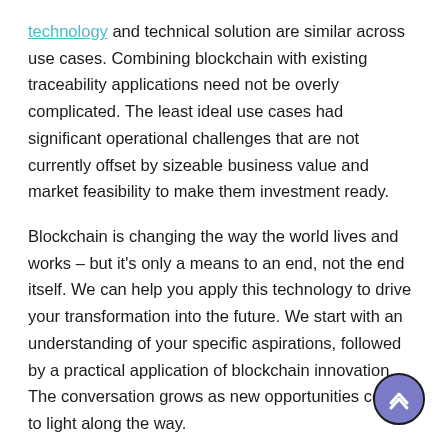technology and technical solution are similar across use cases. Combining blockchain with existing traceability applications need not be overly complicated. The least ideal use cases had significant operational challenges that are not currently offset by sizeable business value and market feasibility to make them investment ready.
Blockchain is changing the way the world lives and works – but it's only a means to an end, not the end itself. We can help you apply this technology to drive your transformation into the future. We start with an understanding of your specific aspirations, followed by a practical application of blockchain innovation. The conversation grows as new opportunities come to light along the way.